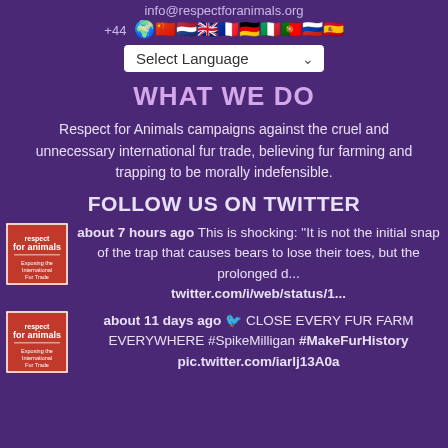info@respectforanimals.org
+44 [flags row]
[Figure (screenshot): Select Language dropdown UI element with chevron arrow]
WHAT WE DO
Respect for Animals campaigns against the cruel and unnecessary international fur trade, believing fur farming and trapping to be morally indefensible.
FOLLOW US ON TWITTER
[Figure (logo): Respect for Animals red logo square]
about 7 hours ago This is shocking: "It is not the initial snap of the trap that causes bears to lose their toes, but the prolonged d... twitter.com/i/web/status/1...
[Figure (logo): Respect for Animals red logo square]
about 11 days ago 🐦 CLOSE EVERY FUR FARM EVERYWHERE #SpikeMilligan #MakeFurHistory pic.twitter.com/iarlj13A0a